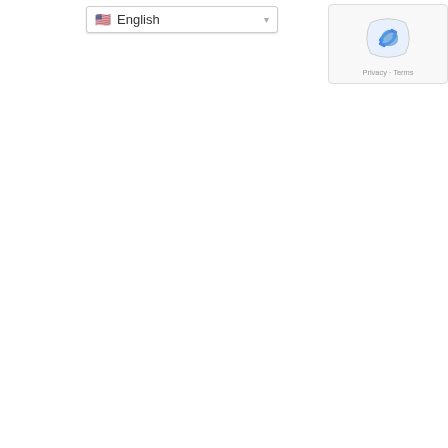[Figure (screenshot): Language selector dropdown showing English with US flag]
[Figure (screenshot): Google reCAPTCHA widget with bird icon and Privacy - Terms links]
programs or to inquire about availability, please contact